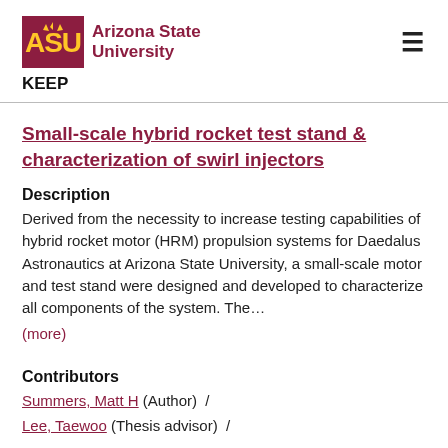ASU Arizona State University | KEEP
Small-scale hybrid rocket test stand & characterization of swirl injectors
Description
Derived from the necessity to increase testing capabilities of hybrid rocket motor (HRM) propulsion systems for Daedalus Astronautics at Arizona State University, a small-scale motor and test stand were designed and developed to characterize all components of the system. The…
(more)
Contributors
Summers, Matt H (Author) /
Lee, Taewoo (Thesis advisor) /